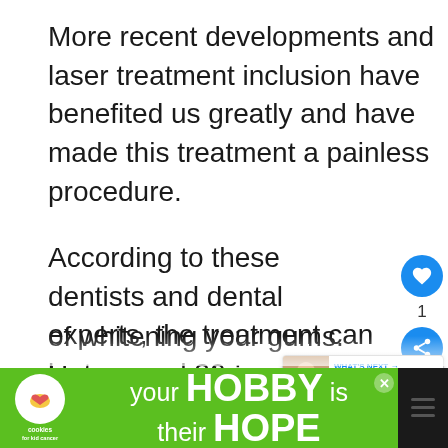More recent developments and laser treatment inclusion have benefited us greatly and have made this treatment a painless procedure.
According to these dentists and dental experts, the treatment can last around 20 years to life, and bleaching is a speedy way of whitening your gums. However, certain patients complain that the bleaching results are very time consuming and don't usually la...
[Figure (screenshot): Social sidebar with heart/like button showing count of 1, and a share button, both in blue circles on the right side of the page]
[Figure (screenshot): What's Next widget showing 'How To Stop Gagging Wh...' with a thumbnail of a person]
[Figure (screenshot): Green advertisement banner at bottom: cookies for kid cancer logo on left, 'your HOBBY is their HOPE' text in center, close button, and a dark icon on right]